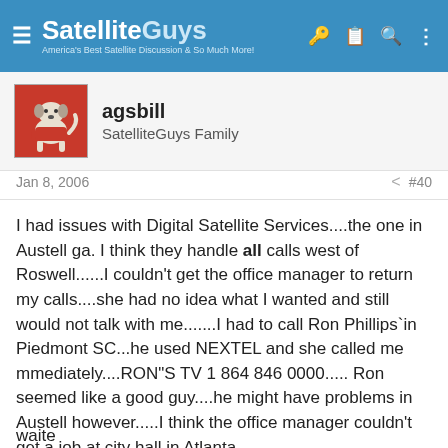SatelliteGuys — America's Best Satellite Discussion & So Much More!
agsbill
SatelliteGuys Family
Jan 8, 2006   #40
I had issues with Digital Satellite Services....the one in Austell ga. I think they handle all calls west of Roswell......I couldn't get the office manager to return my calls....she had no idea what I wanted and still would not talk with me.......I had to call Ron Phillips`in Piedmont SC...he used NEXTEL and she called me mmediately....RON"S TV 1 864 846 0000..... Ron seemed like a good guy....he might have problems in Austell however.....I think the office manager couldn't get a job at city hall in Atlanta....
waite